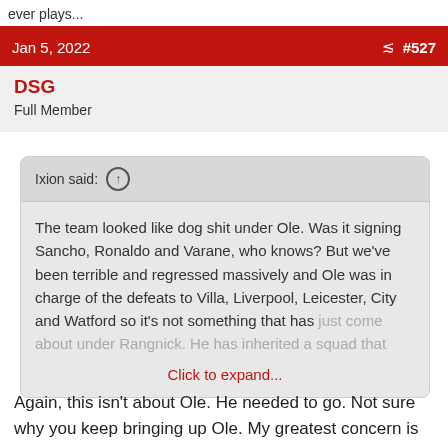ever plays...
Jan 5, 2022   #527
DSG
Full Member
Ixion said: ↑
The team looked like dog shit under Ole. Was it signing Sancho, Ronaldo and Varane, who knows? But we've been terrible and regressed massively and Ole was in charge of the defeats to Villa, Liverpool, Leicester, City and Watford so it's not something that has just come about under Rangnick. He has inherited a squad that
Click to expand...
Again, this isn't about Ole. He needed to go. Not sure why you keep bringing up Ole. My greatest concern is that when a